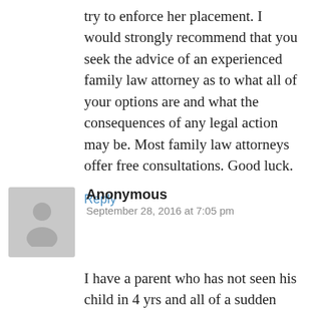try to enforce her placement. I would strongly recommend that you seek the advice of an experienced family law attorney as to what all of your options are and what the consequences of any legal action may be. Most family law attorneys offer free consultations. Good luck.
Reply
[Figure (illustration): Anonymous user avatar: grey silhouette of a person on a grey square background]
Anonymous
September 28, 2016 at 7:05 pm
I have a parent who has not seen his child in 4 yrs and all of a sudden decidied to file for contempt and